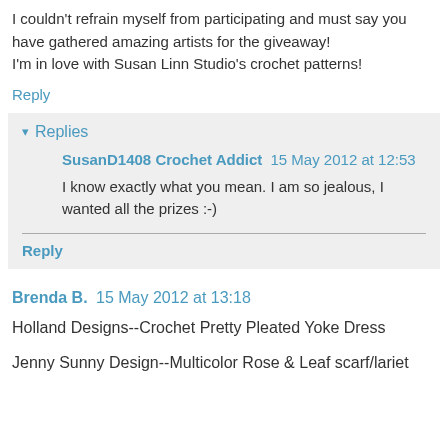I couldn't refrain myself from participating and must say you have gathered amazing artists for the giveaway!
I'm in love with Susan Linn Studio's crochet patterns!
Reply
▾ Replies
SusanD1408 Crochet Addict  15 May 2012 at 12:53
I know exactly what you mean. I am so jealous, I wanted all the prizes :-)
Reply
Brenda B.  15 May 2012 at 13:18
Holland Designs--Crochet Pretty Pleated Yoke Dress
Jenny Sunny Design--Multicolor Rose & Leaf scarf/lariet